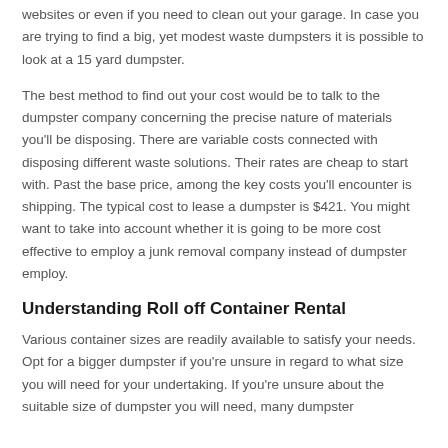websites or even if you need to clean out your garage. In case you are trying to find a big, yet modest waste dumpsters it is possible to look at a 15 yard dumpster.
The best method to find out your cost would be to talk to the dumpster company concerning the precise nature of materials you'll be disposing. There are variable costs connected with disposing different waste solutions. Their rates are cheap to start with. Past the base price, among the key costs you'll encounter is shipping. The typical cost to lease a dumpster is $421. You might want to take into account whether it is going to be more cost effective to employ a junk removal company instead of dumpster employ.
Understanding Roll off Container Rental
Various container sizes are readily available to satisfy your needs. Opt for a bigger dumpster if you're unsure in regard to what size you will need for your undertaking. If you're unsure about the suitable size of dumpster you will need, many dumpster